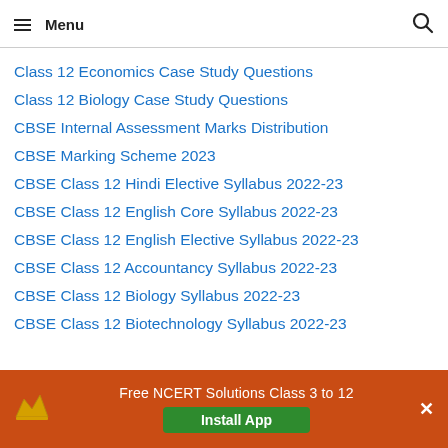Menu
Class 12 Economics Case Study Questions
Class 12 Biology Case Study Questions
CBSE Internal Assessment Marks Distribution
CBSE Marking Scheme 2023
CBSE Class 12 Hindi Elective Syllabus 2022-23
CBSE Class 12 English Core Syllabus 2022-23
CBSE Class 12 English Elective Syllabus 2022-23
CBSE Class 12 Accountancy Syllabus 2022-23
CBSE Class 12 Biology Syllabus 2022-23
CBSE Class 12 Biotechnology Syllabus 2022-23
Free NCERT Solutions Class 3 to 12 | Install App